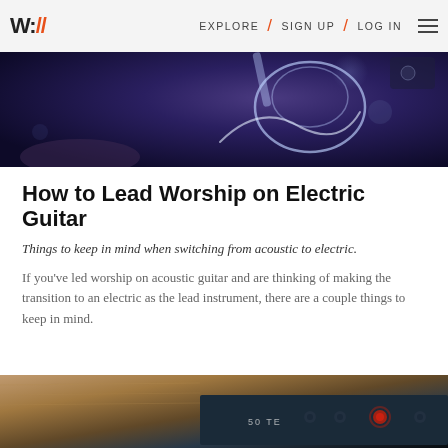W:// EXPLORE / SIGN UP / LOG IN
[Figure (photo): Close-up photo of someone holding an electric guitar against a dark purple/blue background with bokeh lighting effects.]
How to Lead Worship on Electric Guitar
Things to keep in mind when switching from acoustic to electric.
If you've led worship on acoustic guitar and are thinking of making the transition to an electric as the lead instrument, there are a couple things to keep in mind.
[Figure (photo): Close-up photo of a guitar amplifier, showing the wood cabinet and control panel with knobs and a red indicator light. Text on amp reads '50 TE'.]
◄ | 🔍